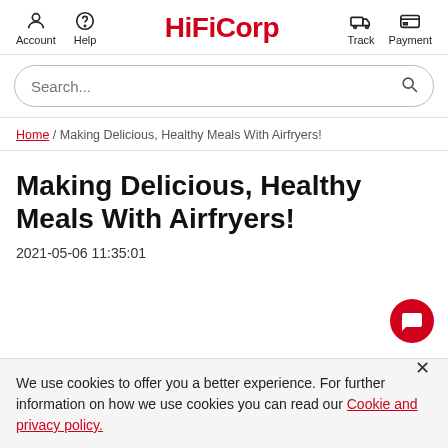Account  Help  HiFiCorp  Track  Payment
Search...
Home / Making Delicious, Healthy Meals With Airfryers!
Making Delicious, Healthy Meals With Airfryers!
2021-05-06 11:35:01
We use cookies to offer you a better experience. For further information on how we use cookies you can read our Cookie and privacy policy.